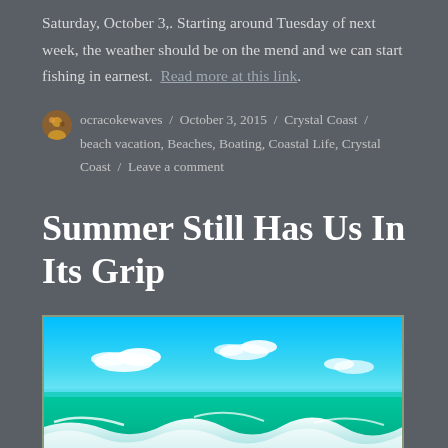Saturday, October 3,. Starting around Tuesday of next week, the weather should be on the mend and we can start fishing in earnest. Read more at this link.
ocracokewaves / October 3, 2015 / Crystal Coast / beach vacation, Beaches, Boating, Coastal Life, Crystal Coast / Leave a comment
Summer Still Has Us In Its Grip
[Figure (photo): A beach scene with turquoise ocean waves and a bright blue sky with white clouds along the horizon.]